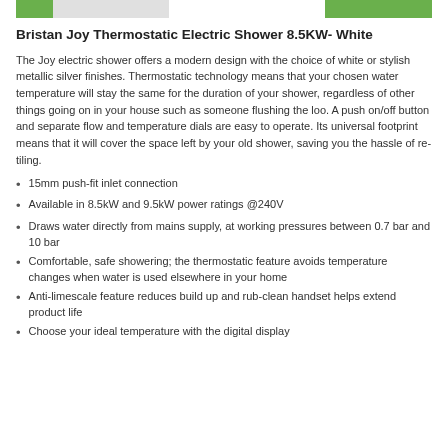Bristan Joy Thermostatic Electric Shower 8.5KW- White
The Joy electric shower offers a modern design with the choice of white or stylish metallic silver finishes. Thermostatic technology means that your chosen water temperature will stay the same for the duration of your shower, regardless of other things going on in your house such as someone flushing the loo. A push on/off button and separate flow and temperature dials are easy to operate. Its universal footprint means that it will cover the space left by your old shower, saving you the hassle of re-tiling.
15mm push-fit inlet connection
Available in 8.5kW and 9.5kW power ratings @240V
Draws water directly from mains supply, at working pressures between 0.7 bar and 10 bar
Comfortable, safe showering; the thermostatic feature avoids temperature changes when water is used elsewhere in your home
Anti-limescale feature reduces build up and rub-clean handset helps extend product life
Choose your ideal temperature with the digital display